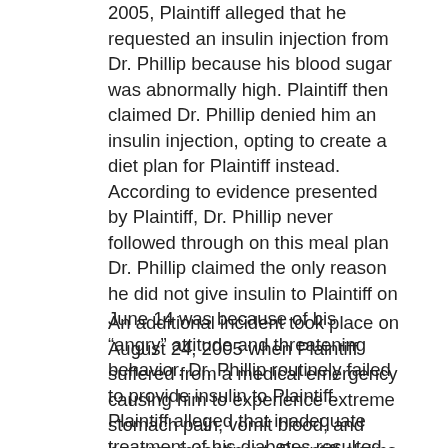2005, Plaintiff alleged that he requested an insulin injection from Dr. Phillip because his blood sugar was abnormally high. Plaintiff then claimed Dr. Phillip denied him an insulin injection, opting to create a diet plan for Plaintiff instead. According to evidence presented by Plaintiff, Dr. Phillip never followed through on this meal plan Dr. Phillip claimed the only reason he did not give insulin to Plaintiff on June 14 was because of his “angry” attitude and threatening behavior. Dr. Phillip routinely failed to provide insulin to Plaintiff. Plaintiff alleged that inadequate treatment of his diabetes resulted in damage to his nervous system, kidneys, and eyesight.
An additional incident took place on August 24, 2005 when Plaintiff suffered from a medical emergency causing him to experience extreme stomach pain, vomit blood, and become incontinent. Plaintiff claims that despite his multiple attempts to render assistance from Dr.